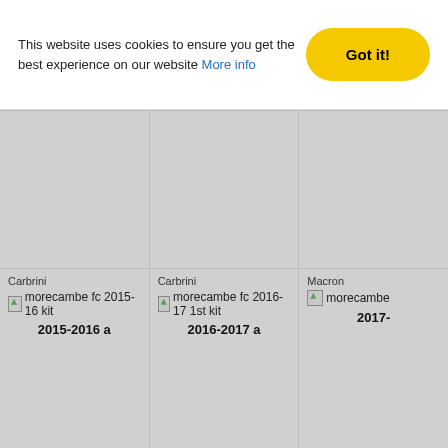This website uses cookies to ensure you get the best experience on our website More info
[Figure (screenshot): Cookie consent banner with 'Got it!' yellow button]
[Figure (photo): Gray placeholder card - top row left (Carbrini, 2015-2016 a)]
[Figure (photo): Gray placeholder card - top row middle (Carbrini, 2016-2017 1st kit a)]
[Figure (photo): Gray placeholder card - top row right (Macron, 2017-)]
Carbrini
morecambe fc 2015-16 kit
2015-2016 a
Carbrini
morecambe fc 2016-17 1st kit
2016-2017 a
Macron
morecambe
2017-